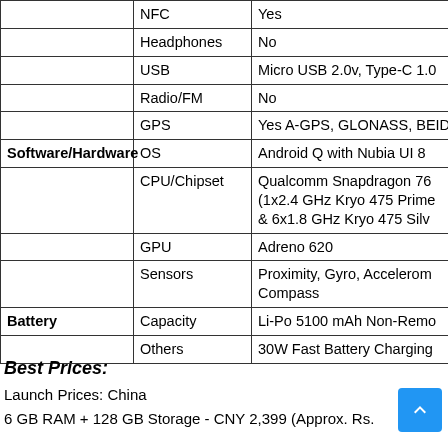| Category | Feature | Value |
| --- | --- | --- |
|  | NFC | Yes |
|  | Headphones | No |
|  | USB | Micro USB 2.0v, Type-C 1.0 |
|  | Radio/FM | No |
|  | GPS | Yes A-GPS, GLONASS, BEID... |
| Software/Hardware | OS | Android Q with Nubia UI 8 |
|  | CPU/Chipset | Qualcomm Snapdragon 76... (1x2.4 GHz Kryo 475 Prime & 6x1.8 GHz Kryo 475 Silv... |
|  | GPU | Adreno 620 |
|  | Sensors | Proximity, Gyro, Accelerom... Compass |
| Battery | Capacity | Li-Po 5100 mAh Non-Remo... |
|  | Others | 30W Fast Battery Charging |
Best Prices:
Launch Prices: China
6 GB RAM + 128 GB Storage - CNY 2,399 (Approx. Rs.